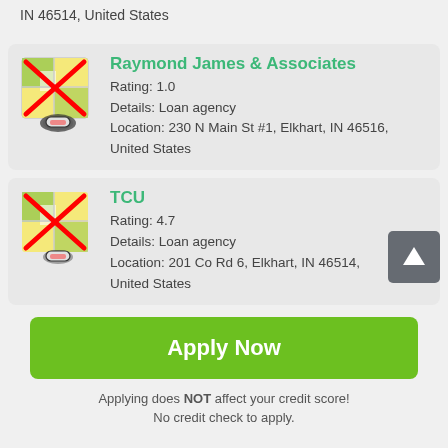IN 46514, United States
Raymond James & Associates
Rating: 1.0
Details: Loan agency
Location: 230 N Main St #1, Elkhart, IN 46516, United States
TCU
Rating: 4.7
Details: Loan agency
Location: 201 Co Rd 6, Elkhart, IN 46514, United States
Apply Now
Applying does NOT affect your credit score!
No credit check to apply.